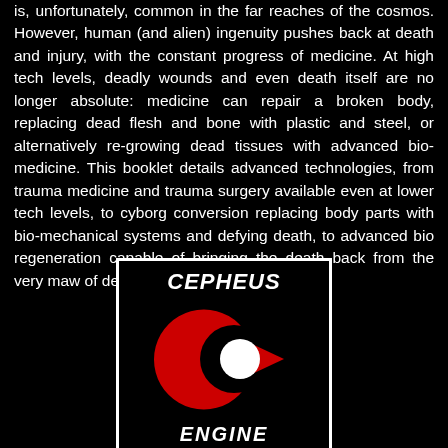is, unfortunately, common in the far reaches of the cosmos. However, human (and alien) ingenuity pushes back at death and injury, with the constant progress of medicine. At high tech levels, deadly wounds and even death itself are no longer absolute: medicine can repair a broken body, replacing dead flesh and bone with plastic and steel, or alternatively re-growing dead tissues with advanced bio-medicine. This booklet details advanced technologies, from trauma medicine and trauma surgery available even at lower tech levels, to cyborg conversion replacing body parts with bio-mechanical systems and defying death, to advanced bio regeneration capable of bringing the death back from the very maw of death.
[Figure (logo): Cepheus Engine logo: white text 'CEPHEUS' at top, red crescent/C shape with white circle, white text 'ENGINE' at bottom, all on black background with white border]